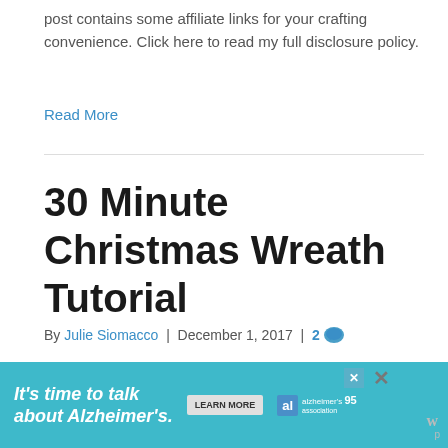post contains some affiliate links for your crafting convenience. Click here to read my full disclosure policy.
Read More
30 Minute Christmas Wreath Tutorial
By Julie Siomacco | December 1, 2017 | 2
[Figure (photo): Christmas wreath with red berries, green holly, and ornaments]
[Figure (infographic): Advertisement banner: It's time to talk about Alzheimer's. LEARN MORE. Alzheimer's Association logo.]